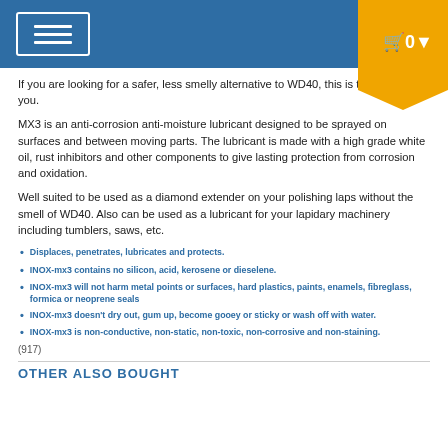Navigation bar with hamburger menu and cart icon showing 0 items
If you are looking for a safer, less smelly alternative to WD40, this is the product for you.
MX3 is an anti-corrosion anti-moisture lubricant designed to be sprayed on surfaces and between moving parts. The lubricant is made with a high grade white oil, rust inhibitors and other components to give lasting protection from corrosion and oxidation.
Well suited to be used as a diamond extender on your polishing laps without the smell of WD40.  Also can be used as a lubricant for your lapidary machinery including tumblers, saws, etc.
Displaces, penetrates, lubricates and protects.
INOX-mx3 contains no silicon, acid, kerosene or dieselene.
INOX-mx3 will not harm metal points or surfaces, hard plastics, paints, enamels, fibreglass, formica or neoprene seals
INOX-mx3 doesn't dry out, gum up, become gooey or sticky or wash off with water.
INOX-mx3 is non-conductive, non-static, non-toxic, non-corrosive and non-staining.
(917)
OTHER ALSO BOUGHT